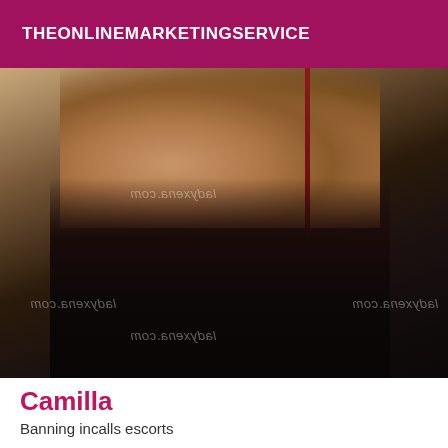THEONLINEMARKETINGSERVICE
[Figure (photo): Close-up photo of a person wearing black thigh-high stockings with watermarks reading ladyxena.com]
Camilla
Banning incalls escorts